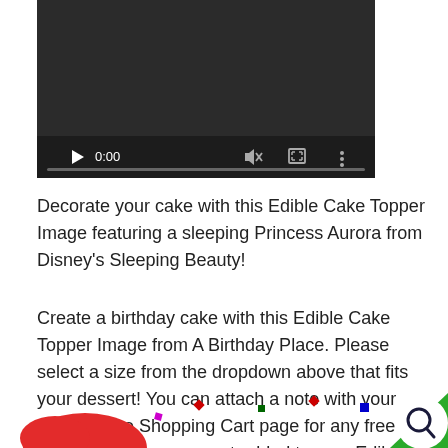[Figure (screenshot): Video player with dark background showing 0:00 timestamp, play button, mute icon, fullscreen icon, and more options icon, with a progress bar at the bottom]
Decorate your cake with this Edible Cake Topper Image featuring a sleeping Princess Aurora from Disney's Sleeping Beauty!
Create a birthday cake with this Edible Cake Topper Image from A Birthday Place. Please select a size from the dropdown above that fits your dessert! You can attach a note with your order on the Shopping Cart page for any free personalization you want added to your Edible Cake Topper.
[Figure (illustration): Partial view of colorful cartoon decorations and confetti at the bottom of the page, with a search magnifying glass button on the right]